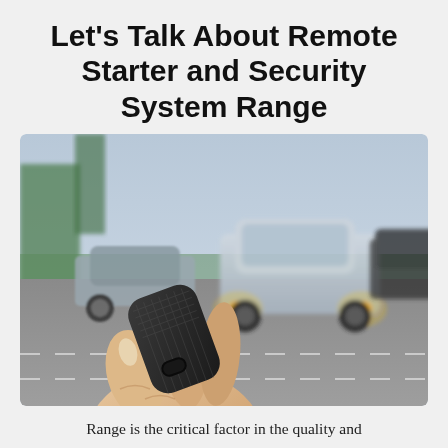Let's Talk About Remote Starter and Security System Range
[Figure (photo): A hand holding a small black remote car starter fob pointed toward a parking lot where a white SUV with headlights/foglights on is visible, along with other vehicles and a road in the background.]
Range is the critical factor in the quality and